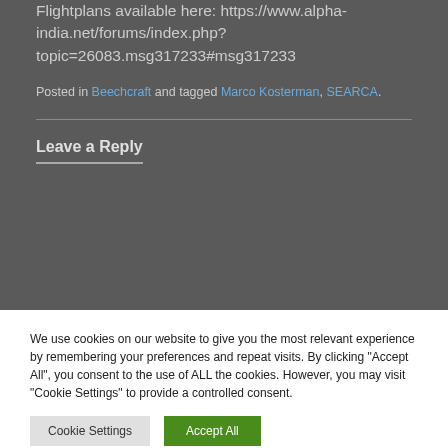Flightplans available here: https://www.alpha-india.net/forums/index.php?topic=26083.msg317233#msg317233
Posted in Beechcraft and tagged Marco Kosterman, SEARCA.
Leave a Reply
We use cookies on our website to give you the most relevant experience by remembering your preferences and repeat visits. By clicking "Accept All", you consent to the use of ALL the cookies. However, you may visit "Cookie Settings" to provide a controlled consent.